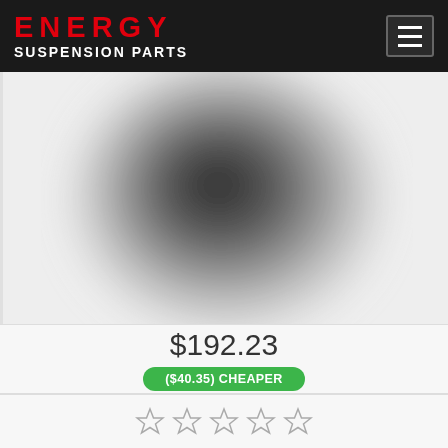ENERGY SUSPENSION PARTS
[Figure (photo): Blurred product image of a suspension part on light grey background]
$192.23
($40.35) CHEAPER
[Figure (other): Five empty star rating icons]